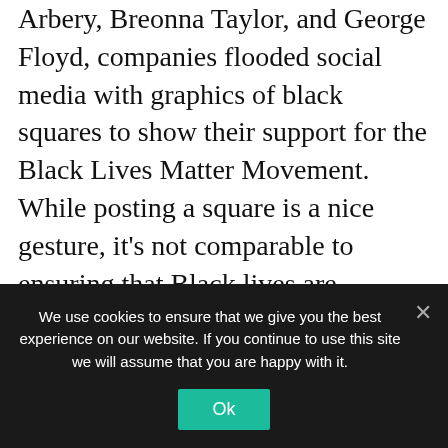Arbery, Breonna Taylor, and George Floyd, companies flooded social media with graphics of black squares to show their support for the Black Lives Matter Movement. While posting a square is a nice gesture, it's not comparable to ensuring that Black lives are actually represented.
To see lasting change, Black travel professionals formed the Black Travel Alliance. In one of their first initiatives, the Alliance created the #PullUpForTravel campaign to challenge travel brands to take a hard but
We use cookies to ensure that we give you the best experience on our website. If you continue to use this site we will assume that you are happy with it.